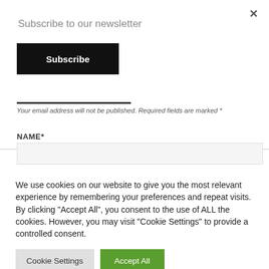Subscribe to our newsletter
[Figure (screenshot): Black Subscribe button]
Your email address will not be published. Required fields are marked *
NAME*
We use cookies on our website to give you the most relevant experience by remembering your preferences and repeat visits. By clicking "Accept All", you consent to the use of ALL the cookies. However, you may visit "Cookie Settings" to provide a controlled consent.
Cookie Settings
Accept All